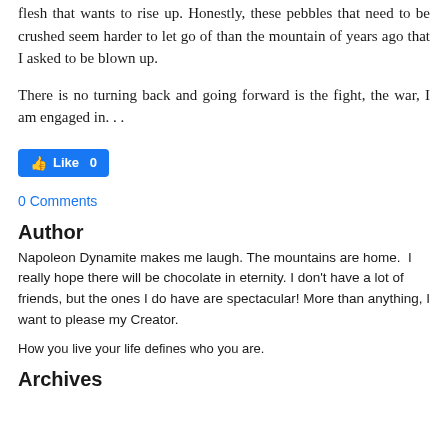flesh that wants to rise up. Honestly, these pebbles that need to be crushed seem harder to let go of than the mountain of years ago that I asked to be blown up.
There is no turning back and going forward is the fight, the war, I am engaged in. . .
[Figure (other): Facebook Like button showing 0 likes]
0 Comments
Author
Napoleon Dynamite makes me laugh. The mountains are home.  I really hope there will be chocolate in eternity. I don't have a lot of friends, but the ones I do have are spectacular! More than anything, I want to please my Creator.
How you live your life defines who you are.
Archives